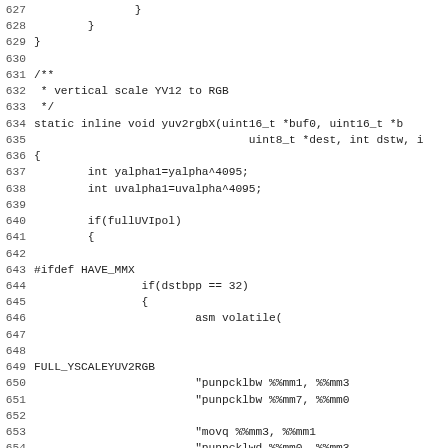Source code listing, lines 627-659, C code with inline assembly for YUV to RGB conversion